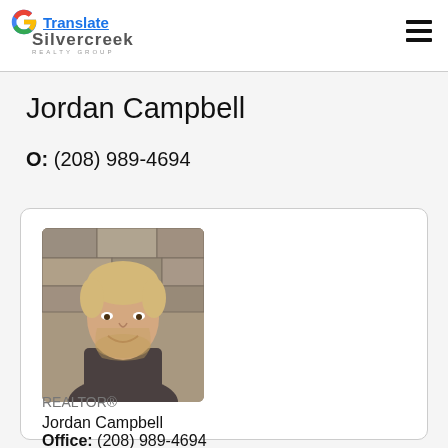Google Translate | Silvercreek Realty Group
Jordan Campbell
O: (208) 989-4694
[Figure (photo): Headshot photo of Jordan Campbell, a young man with short blonde hair and a beard, smiling, wearing a dark grey shirt, standing in front of a stone wall background.]
Jordan Campbell
REALTOR®
Office: (208) 989-4694